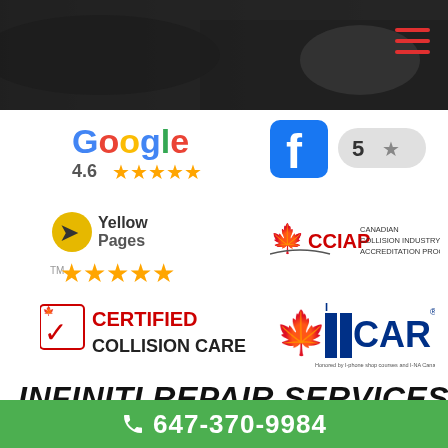[Figure (photo): Dark header banner with mechanic working on a car, menu icon (three red lines) in top right corner]
[Figure (logo): Google logo with rating 4.6 and orange stars]
[Figure (logo): Facebook logo with 5 star rating badge]
[Figure (logo): YellowPages logo with 5 orange stars]
[Figure (logo): CCIAP - Canadian Collision Industry Accreditation Program logo]
[Figure (logo): Certified Collision Care logo with checkmark]
[Figure (logo): I-CAR logo with Canadian maple leaf]
INFINITI REPAIR SERVICES
[Figure (photo): Partial photo of a car being repaired]
647-370-9984